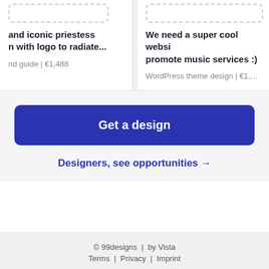and iconic priestess n with logo to radiate...
and guide | €1,488
We need a super cool websi promote music services :)
WordPress theme design | €1,...
Get a design
Designers, see opportunities →
© 99designs  |  by Vista
Terms  |  Privacy  |  Imprint